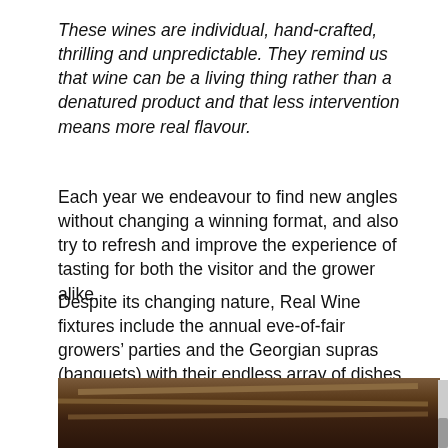These wines are individual, hand-crafted, thrilling and unpredictable. They remind us that wine can be a living thing rather than a denatured product and that less intervention means more real flavour.
Each year we endeavour to find new angles without changing a winning format, and also try to refresh and improve the experience of tasting for both the visitor and the grower alike.
Despite its changing nature, Real Wine fixtures include the annual eve-of-fair growers’ parties and the Georgian supras (banquets) with their endless array of dishes washed down by amber wine, heartfelt toasts and polyphonic singing.
[Figure (photo): Interior photo of a venue with wooden ceiling beams and rafters, dimly lit, dark atmosphere.]